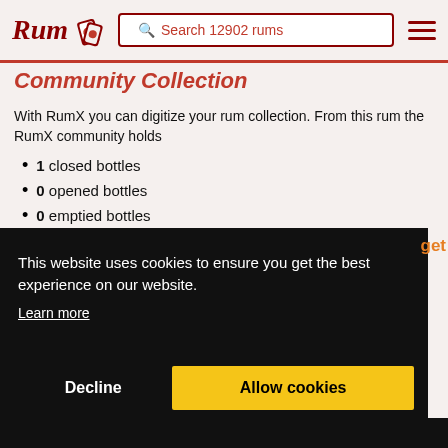Rum [logo] | Search 12902 rums | [menu]
Community Collection
With RumX you can digitize your rum collection. From this rum the RumX community holds
1 closed bottles
0 opened bottles
0 emptied bottles
This website uses cookies to ensure you get the best experience on our website.
Learn more
Decline  Allow cookies